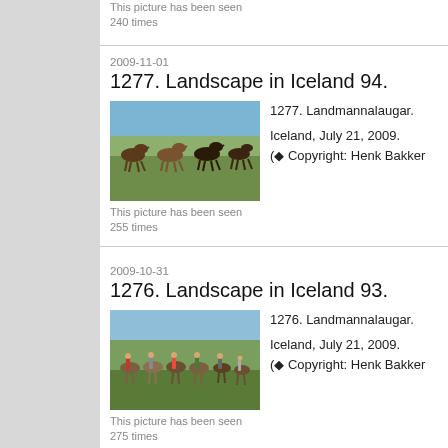This picture has been seen
240 times
2009-11-01
1277. Landscape in Iceland 94.
[Figure (photo): Horses running across a grassy hillside, Landmannalaugar, Iceland]
This picture has been seen
255 times
1277. Landmannalaugar.

Iceland, July 21, 2009.
(◆ Copyright: Henk Bakker
2009-10-31
1276. Landscape in Iceland 93.
[Figure (photo): Riders on horses crossing a grassy landscape, Landmannalaugar, Iceland]
This picture has been seen
275 times
1276. Landmannalaugar.

Iceland, July 21, 2009.
(◆ Copyright: Henk Bakker